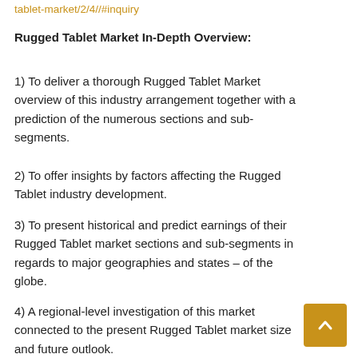tablet-market/2/4//#inquiry
Rugged Tablet Market In-Depth Overview:
1) To deliver a thorough Rugged Tablet Market overview of this industry arrangement together with a prediction of the numerous sections and sub-segments.
2) To offer insights by factors affecting the Rugged Tablet industry development.
3) To present historical and predict earnings of their Rugged Tablet market sections and sub-segments in regards to major geographies and states – of the globe.
4) A regional-level investigation of this market connected to the present Rugged Tablet market size and future outlook.